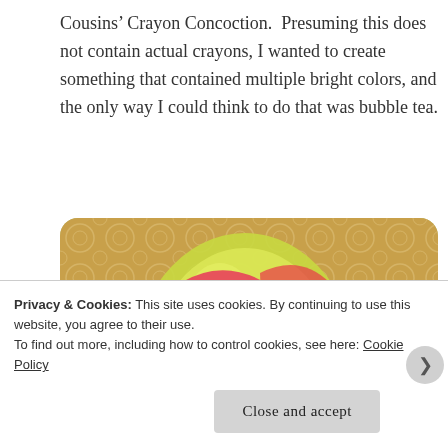Cousins' Crayon Concoction.  Presuming this does not contain actual crayons, I wanted to create something that contained multiple bright colors, and the only way I could think to do that was bubble tea.
[Figure (photo): A package of WuFuYuan brand colored tapioca pearls (bubble tea ingredients) on a lace tablecloth. The package is green/yellow and features Chinese characters and the text 'Ready in 5 minutes' and 'COLOR' on the front.]
Privacy & Cookies: This site uses cookies. By continuing to use this website, you agree to their use.
To find out more, including how to control cookies, see here: Cookie Policy